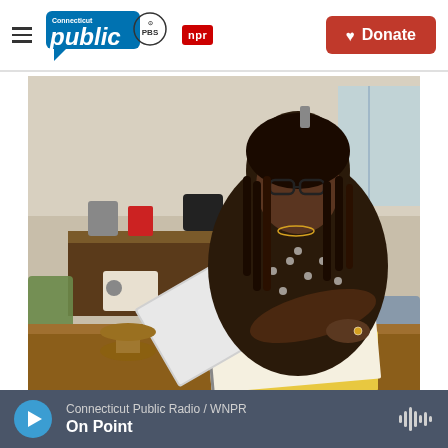Connecticut Public | PBS | NPR | Donate
[Figure (photo): A Black woman with dreadlocks and glasses sits at a wooden dining table, reading or studying from an open book or Bible. She is wearing a patterned blouse. In the background is a sideboard with kitchen appliances and green chairs.]
CREDIT: Debbie Elliott / NPR / NPR
Connecticut Public Radio / WNPR | On Point